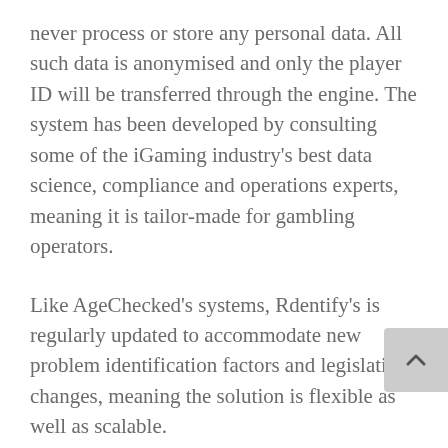never process or store any personal data. All such data is anonymised and only the player ID will be transferred through the engine. The system has been developed by consulting some of the iGaming industry's best data science, compliance and operations experts, meaning it is tailor-made for gambling operators.
Like AgeChecked's systems, Rdentify's is regularly updated to accommodate new problem identification factors and legislation changes, meaning the solution is flexible as well as scalable.
With the issue of responsible gambling becoming increasingly important, particularly in the British media ahead of the review of the 2005 Gambling Act, the scrutiny on the gambling industry and their accountability has never been higher. The...